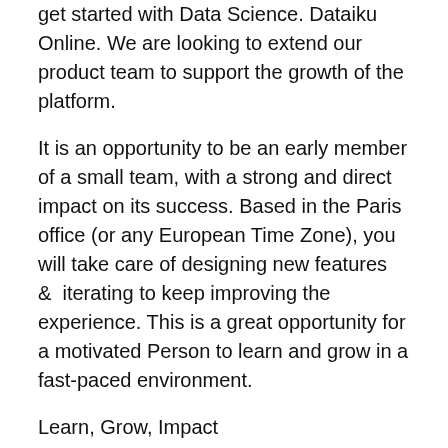get started with Data Science. Dataiku Online. We are looking to extend our product team to support the growth of the platform.
It is an opportunity to be an early member of a small team, with a strong and direct impact on its success. Based in the Paris office (or any European Time Zone), you will take care of designing new features &  iterating to keep improving the experience. This is a great opportunity for a motivated Person to learn and grow in a fast-paced environment.
Learn, Grow, Impact
This job requires passion for new technologies and the possibilities of Data Science in various company sizes and industries.
Responsibilities:
Work on the specs of a product owner to transform